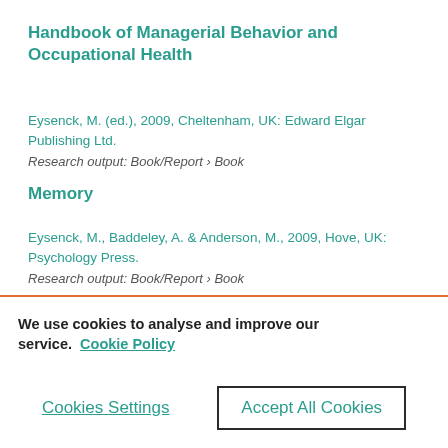Handbook of Managerial Behavior and Occupational Health
Eysenck, M. (ed.), 2009, Cheltenham, UK: Edward Elgar Publishing Ltd.
Research output: Book/Report › Book
Memory
Eysenck, M., Baddeley, A. & Anderson, M., 2009, Hove, UK: Psychology Press.
Research output: Book/Report › Book
We use cookies to analyse and improve our service. Cookie Policy
Cookies Settings
Accept All Cookies